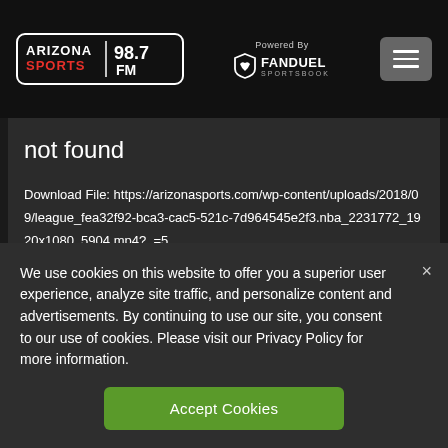Arizona Sports 98.7 FM — Powered By FanDuel Sportsbook
not found
Download File: https://arizonasports.com/wp-content/uploads/2018/09/league_fea32f92-bca3-cac5-521c-7d964545e2f3.nba_2231772_1920x1080_5904.mp4?_=5
We use cookies on this website to offer you a superior user experience, analyze site traffic, and personalize content and advertisements. By continuing to use our site, you consent to our use of cookies. Please visit our Privacy Policy for more information.